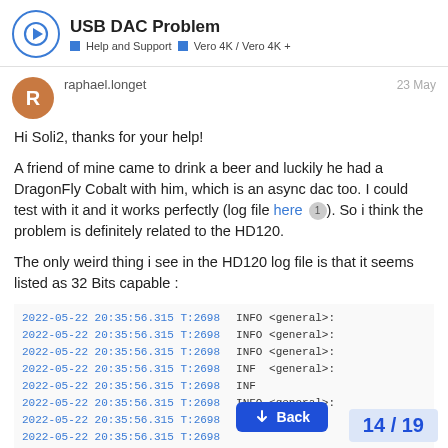USB DAC Problem | Help and Support | Vero 4K / Vero 4K +
raphael.longet   23 May
Hi Soli2, thanks for your help!
A friend of mine came to drink a beer and luckily he had a DragonFly Cobalt with him, which is an async dac too. I could test with it and it works perfectly (log file here 1). So i think the problem is definitely related to the HD120.
The only weird thing i see in the HD120 log file is that it seems listed as 32 Bits capable :
2022-05-22 20:35:56.315 T:2698    INFO <general>:
2022-05-22 20:35:56.315 T:2698    INFO <general>:
2022-05-22 20:35:56.315 T:2698    INFO <general>:
2022-05-22 20:35:56.315 T:2698    INFO <general>:
2022-05-22 20:35:56.315 T:2698    INFO <general>:
2022-05-22 20:35:56.315 T:2698    INFO <general>:
2022-05-22 20:35:56.315 T:2698
2022-05-22 20:35:56.315 T:2698